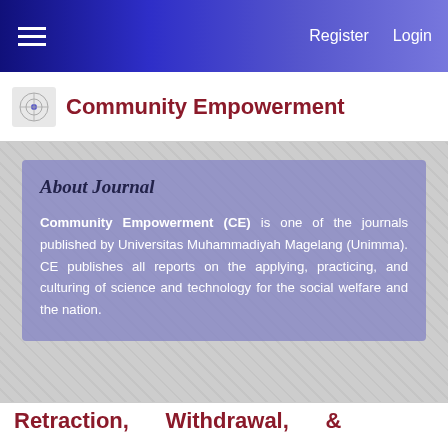Register   Login
Community Empowerment
About Journal
Community Empowerment (CE) is one of the journals published by Universitas Muhammadiyah Magelang (Unimma). CE publishes all reports on the applying, practicing, and culturing of science and technology for the social welfare and the nation.
Retraction, Withdrawal, & Correction (R-W-C) Policy